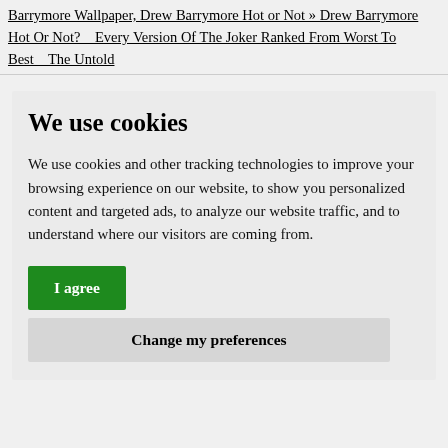Barrymore Wallpaper, Drew Barrymore Hot or Not » Drew Barrymore Hot Or Not?   Every Version Of The Joker Ranked From Worst To Best   The Untold
We use cookies
We use cookies and other tracking technologies to improve your browsing experience on our website, to show you personalized content and targeted ads, to analyze our website traffic, and to understand where our visitors are coming from.
I agree
Change my preferences